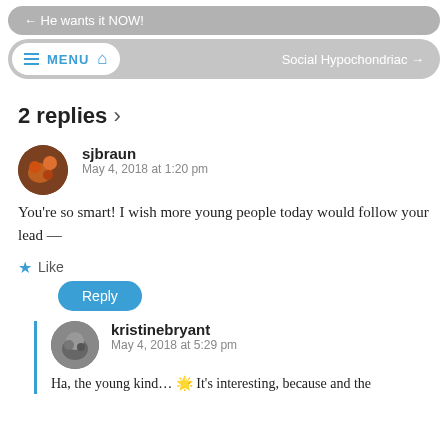← He wants it NOW!
≡ MENU 🏠  Social Hypochondriac →
2 replies ›
sjbraun
May 4, 2018 at 1:20 pm
You're so smart! I wish more young people today would follow your lead —
★ Like
Reply
kristinebryant
May 4, 2018 at 5:29 pm
Ha, the young kind…